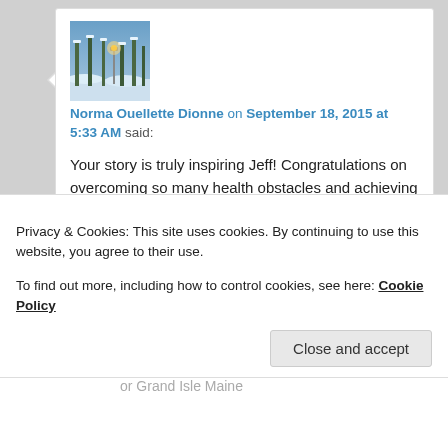[Figure (photo): Winter forest scene with snow-covered trees and a warm light lamp post, used as commenter avatar]
Norma Ouellette Dionne on September 18, 2015 at 5:33 AM said:
Your story is truly inspiring Jeff! Congratulations on overcoming so many health obstacles and achieving so much!
Liked by 1 person
Reply ↓
Privacy & Cookies: This site uses cookies. By continuing to use this website, you agree to their use.
To find out more, including how to control cookies, see here: Cookie Policy
Close and accept
or Grand Isle Maine